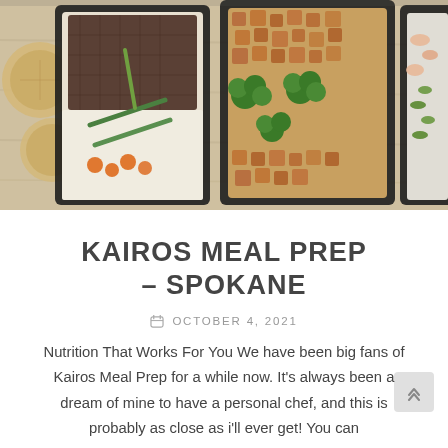[Figure (photo): Overhead shot of black meal prep containers with various prepared meals including meat with vegetables, rice and carrots with green beans, diced meat with broccoli, and shrimp with edamame on a wood surface. Also visible are some round crackers or bread.]
KAIROS MEAL PREP – SPOKANE
OCTOBER 4, 2021
Nutrition That Works For You We have been big fans of Kairos Meal Prep for a while now. It's always been a dream of mine to have a personal chef, and this is probably as close as i'll ever get! You can